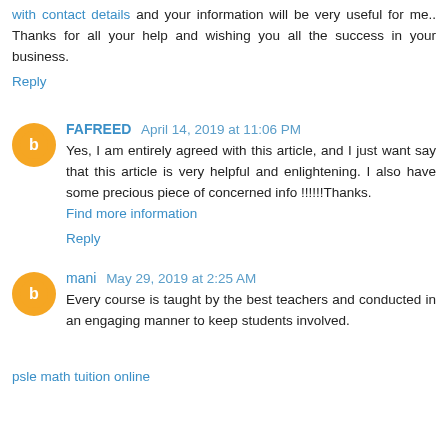with contact details and your information will be very useful for me.. Thanks for all your help and wishing you all the success in your business.
Reply
FAFREED  April 14, 2019 at 11:06 PM
Yes, I am entirely agreed with this article, and I just want say that this article is very helpful and enlightening. I also have some precious piece of concerned info !!!!!!Thanks. Find more information
Reply
mani  May 29, 2019 at 2:25 AM
Every course is taught by the best teachers and conducted in an engaging manner to keep students involved.
psle math tuition online